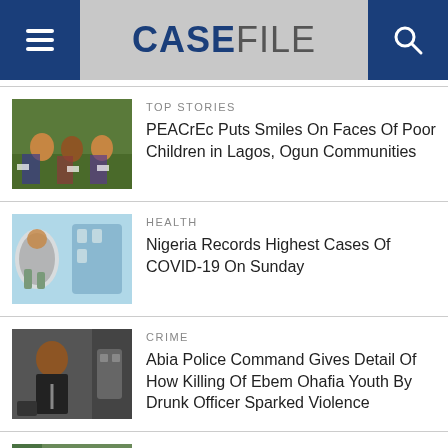CASEFILE
TOP STORIES
PEACrEc Puts Smiles On Faces Of Poor Children in Lagos, Ogun Communities
HEALTH
Nigeria Records Highest Cases Of COVID-19 On Sunday
CRIME
Abia Police Command Gives Detail Of How Killing Of Ebem Ohafia Youth By Drunk Officer Sparked Violence
POLITICS
Governor Wike Bows To Pressure,